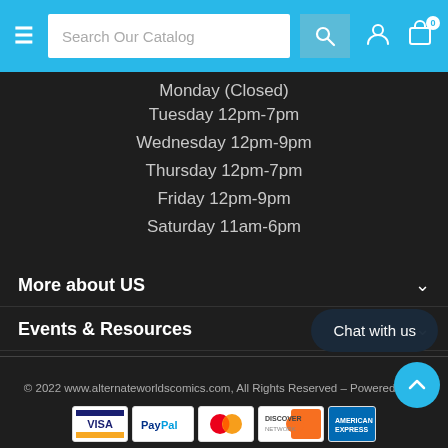Search Our Catalog
Monday (Closed)
Tuesday 12pm-7pm
Wednesday 12pm-9pm
Thursday 12pm-7pm
Friday 12pm-9pm
Saturday 11am-6pm
More about US
Events & Resources
© 2022 www.alternateworldscomics.com, All Rights Reserved – Powered by Bi...
Chat with us